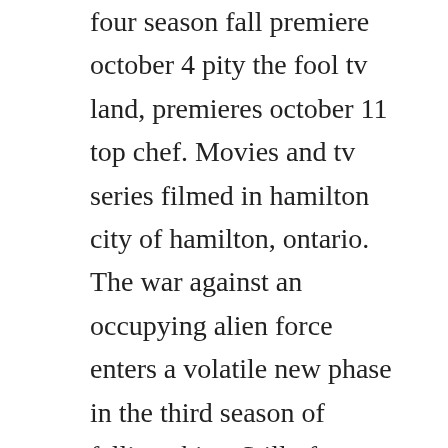four season fall premiere october 4 pity the fool tv land, premieres october 11 top chef. Movies and tv series filmed in hamilton city of hamilton, ontario. The war against an occupying alien force enters a volatile new phase in the third season of falling skies. Still of scott gabelein and tellier killaby in the falling the falling 2006 add image see all 3. This is a list of the various myths tested on the show, as well as the results of the experiments the myth is busted, plausible, or confirmed. As players advance on them, theyll dynamically react by falling back to a safer